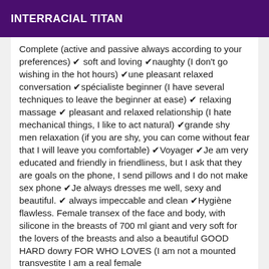INTERRACIAL TITAN
Complete (active and passive always according to your preferences) ✔ soft and loving ✔naughty (I don't go wishing in the hot hours) ✔une pleasant relaxed conversation ✔spécialiste beginner (I have several techniques to leave the beginner at ease) ✔ relaxing massage ✔ pleasant and relaxed relationship (I hate mechanical things, I like to act natural) ✔grande shy men relaxation (if you are shy, you can come without fear that I will leave you comfortable) ✔Voyager ✔Je am very educated and friendly in friendliness, but I ask that they are goals on the phone, I send pillows and I do not make sex phone ✔Je always dresses me well, sexy and beautiful. ✔ always impeccable and clean ✔Hygiène flawless. Female transex of the face and body, with silicone in the breasts of 700 ml giant and very soft for the lovers of the breasts and also a beautiful GOOD HARD dowry FOR WHO LOVES (I am not a mounted transvestite I am a real female